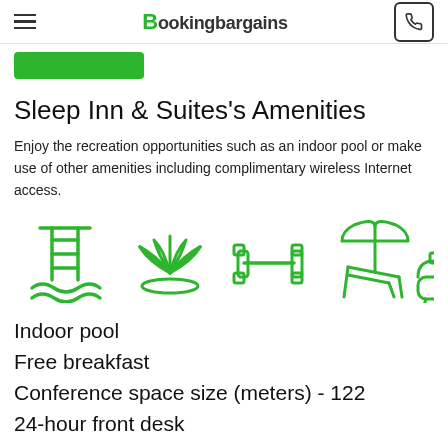Bookingbargains
Sleep Inn & Suites's Amenities
Enjoy the recreation opportunities such as an indoor pool or make use of other amenities including complimentary wireless Internet access.
[Figure (illustration): Row of green outline amenity icons: indoor pool with ladder and waves, lotus flower (spa/wellness), dumbbell/weights (fitness), beach chair with umbrella (outdoor relaxation), bathtub (partial, cut off at right edge).]
Indoor pool
Free breakfast
Conference space size (meters) - 122
24-hour front desk